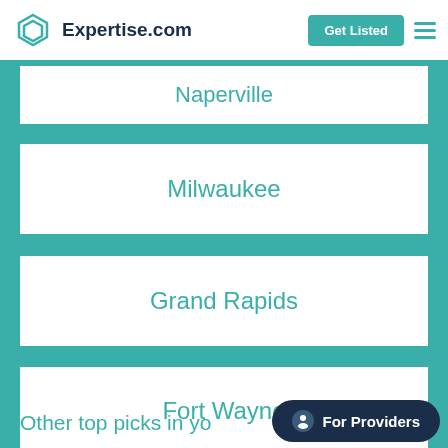Expertise.com
Naperville
Milwaukee
Grand Rapids
Fort Wayne
Other top picks in yo...
For Providers